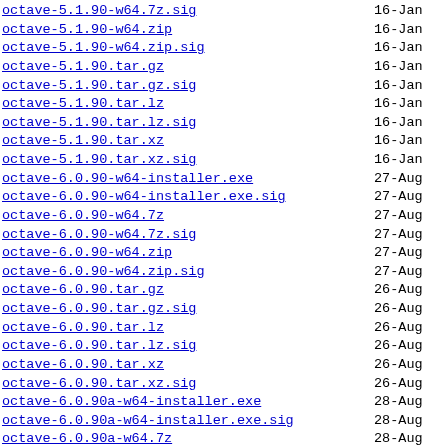octave-5.1.90-w64.7z.sig  16-Jan
octave-5.1.90-w64.zip  16-Jan
octave-5.1.90-w64.zip.sig  16-Jan
octave-5.1.90.tar.gz  16-Jan
octave-5.1.90.tar.gz.sig  16-Jan
octave-5.1.90.tar.lz  16-Jan
octave-5.1.90.tar.lz.sig  16-Jan
octave-5.1.90.tar.xz  16-Jan
octave-5.1.90.tar.xz.sig  16-Jan
octave-6.0.90-w64-installer.exe  27-Aug
octave-6.0.90-w64-installer.exe.sig  27-Aug
octave-6.0.90-w64.7z  27-Aug
octave-6.0.90-w64.7z.sig  27-Aug
octave-6.0.90-w64.zip  27-Aug
octave-6.0.90-w64.zip.sig  27-Aug
octave-6.0.90.tar.gz  26-Aug
octave-6.0.90.tar.gz.sig  26-Aug
octave-6.0.90.tar.lz  26-Aug
octave-6.0.90.tar.lz.sig  26-Aug
octave-6.0.90.tar.xz  26-Aug
octave-6.0.90.tar.xz.sig  26-Aug
octave-6.0.90a-w64-installer.exe  28-Aug
octave-6.0.90a-w64-installer.exe.sig  28-Aug
octave-6.0.90a-w64.7z  28-Aug
octave-6.0.90a-w64.7z.sig  28-Aug
octave-6.0.90a-w64.zip  28-Aug
octave-6.0.90a-w64.zip.sig  28-Aug
octave-6.0.92-w64-installer.exe  24-Oct
octave-6.0.92-w64-installer.exe.sig  24-Oct
octave-6.0.92-w64.7z  24-Oct